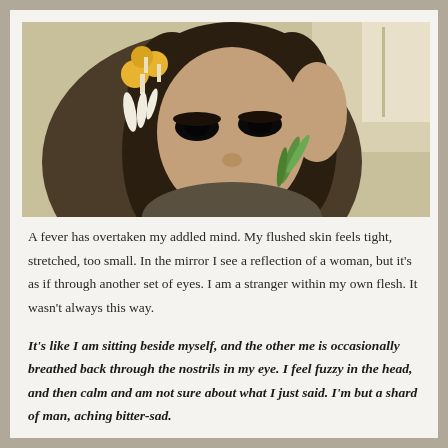[Figure (photo): Close-up portrait of a young woman with dark hair, dramatic eye makeup with dark sclera effect, holding her hand near her face, with yellow mushrooms and white and green plant elements in her hair, artistic/surreal styled photo]
A fever has overtaken my addled mind. My flushed skin feels tight, stretched, too small. In the mirror I see a reflection of a woman, but it's as if through another set of eyes. I am a stranger within my own flesh. It wasn't always this way.
It's like I am sitting beside myself, and the other me is occasionally breathed back through the nostrils in my eye. I feel fuzzy in the head, and then calm and am not sure about what I just said. I'm but a shard of man, aching bitter-sad.